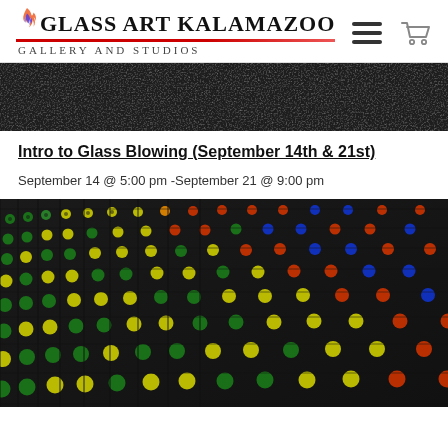Glass Art Kalamazoo Gallery and Studios
[Figure (photo): Dark textured stone or black marble surface, top portion cropped]
Intro to Glass Blowing (September 14th & 21st)
September 14 @ 5:00 pm -September 21 @ 9:00 pm
[Figure (photo): Close-up photo of colorful glass beads or dots arranged in a grid pattern with green, yellow, red, blue, and orange colors on a black grid background, viewed at an angle]